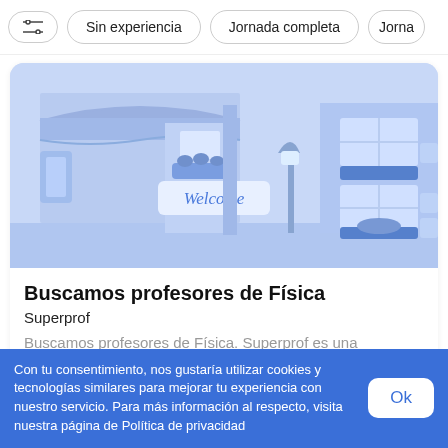[Figure (screenshot): Filter bar with settings icon, 'Sin experiencia' pill, 'Jornada completa' pill, and partially visible 'Jorna' pill]
[Figure (illustration): Blue-toned illustration of a storefront/building with a 'Welcome' sign, street lamp, windows with plant boxes, awning, and blue decorative elements]
Buscamos profesores de Física
Superprof
Buscamos profesores de Física. Superprof es una herramienta para transmitir conocimientos que pon
Con tu consentimiento, nos gustaría utilizar cookies y tecnologías similares para mejorar tu experiencia con nuestro servicio. Para más información al respecto, visita nuestra página de Política de privacidad